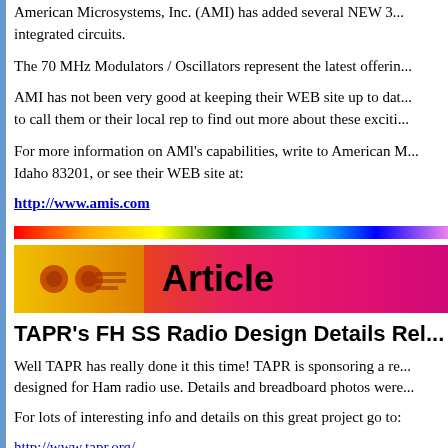American Microsystems, Inc. (AMI) has added several NEW 3... integrated circuits.
The 70 MHz Modulators / Oscillators represent the latest offerin...
AMI has not been very good at keeping their WEB site up to dat... to call them or their local rep to find out more about these exciti...
For more information on AMI's capabilities, write to American M... Idaho 83201, or see their WEB site at:
http://www.amis.com
[Figure (infographic): Rainbow horizontal divider bar]
[Figure (infographic): Article banner with orange-to-pink gradient background and two orange circle icons on left, bold text 'Article' in center]
TAPR's FH SS Radio Design Details Rel...
Well TAPR has really done it this time! TAPR is sponsoring a re... designed for Ham radio use. Details and breadboard photos were...
For lots of interesting info and details on this great project go to:
http://www.tapr.org/...